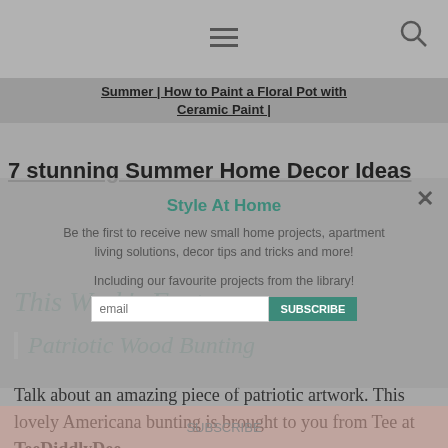Navigation bar with hamburger menu and search icon
Summer | How to Paint a Floral Pot with Ceramic Paint |
7 stunning Summer Home Decor Ideas
This Week's Features:
Patriotic Wood Bunting
Talk about an amazing piece of patriotic artwork. This lovely Americana bunting is brought to you from Tee at TeeDiddlyDee.